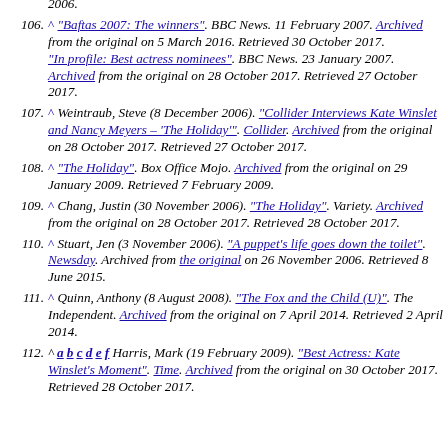2006.
106. ^ "Baftas 2007: The winners". BBC News. 11 February 2007. Archived from the original on 5 March 2016. Retrieved 30 October 2017. "In profile: Best actress nominees". BBC News. 23 January 2007. Archived from the original on 28 October 2017. Retrieved 27 October 2017.
107. ^ Weintraub, Steve (8 December 2006). "Collider Interviews Kate Winslet and Nancy Meyers – 'The Holiday'". Collider. Archived from the original on 28 October 2017. Retrieved 27 October 2017.
108. ^ "The Holiday". Box Office Mojo. Archived from the original on 29 January 2009. Retrieved 7 February 2009.
109. ^ Chang, Justin (30 November 2006). "The Holiday". Variety. Archived from the original on 28 October 2017. Retrieved 28 October 2017.
110. ^ Stuart, Jen (3 November 2006). "A puppet's life goes down the toilet". Newsday. Archived from the original on 26 November 2006. Retrieved 8 June 2015.
111. ^ Quinn, Anthony (8 August 2008). "The Fox and the Child (U)". The Independent. Archived from the original on 7 April 2014. Retrieved 2 April 2014.
112. ^ a b c d e f Harris, Mark (19 February 2009). "Best Actress: Kate Winslet's Moment". Time. Archived from the original on 30 October 2017. Retrieved 28 October 2017.